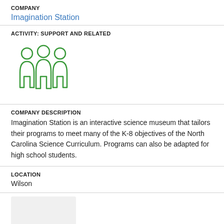COMPANY
Imagination Station
ACTIVITY: SUPPORT AND RELATED
[Figure (illustration): Green outline icon of three people/figures standing together]
COMPANY DESCRIPTION
Imagination Station is an interactive science museum that tailors their programs to meet many of the K-8 objectives of the North Carolina Science Curriculum. Programs can also be adapted for high school students.
LOCATION
Wilson